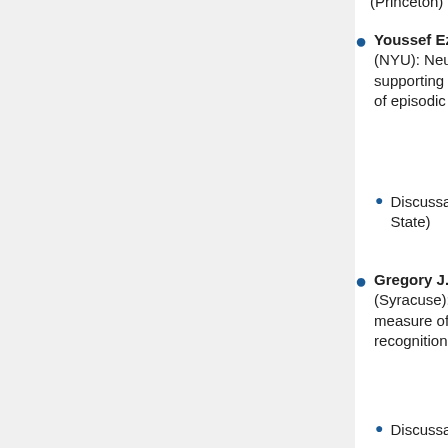(Princeton)
Youssef Ezzyat, Lila Davachi (NYU): Neural mechanisms supporting the temporal organization of episodic long-term memory
Discussant: Per Sederberg (Ohio State)
Gregory J. Koop, Amy H. Criss (Syracuse): Response dynamics as a measure of bias and strength in recognition memory
Discussant: Adam Osth (Ohio State)
Geoff Ward, Cathleen Cortis, Rachel Grenfell-Essam, Jessica Spurgeon, Lydia Tan (University of Essex): Why do participants initiate their immediate free recall of short lists of words with the first list item?
Discussant: Karl Healey (Penn)